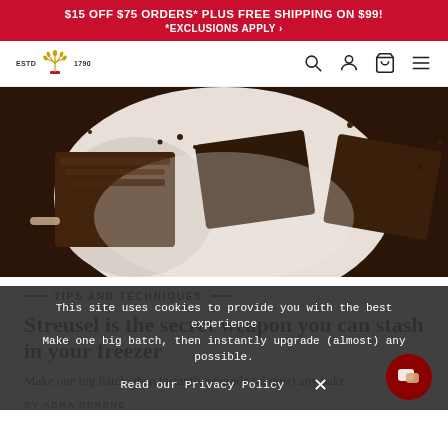$15 OFF $75 ORDERS* PLUS FREE SHIPPING ON $99! *EXCLUSIONS APPLY >
[Figure (logo): King Arthur Baking Company logo with wheat crown, ESTD 1790 text]
[Figure (photo): Overhead view of chocolate streusel brownies or bars cut into squares on a white plate, with crumbs scattered around]
TIPS AND TECHNIQUES
Streusel is the secret weapon you can stash in your freezer
Make one big batch, then instantly upgrade (almost) any bake.
BY ABRA BERENS
This site uses cookies to provide you with the best experience Make one big batch, then instantly upgrade (almost) any bake. possible.
Read our Privacy Policy